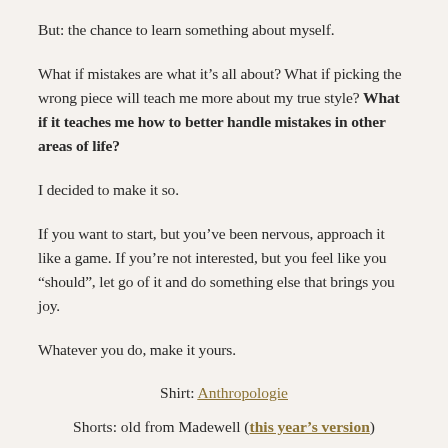But: the chance to learn something about myself.
What if mistakes are what it’s all about? What if picking the wrong piece will teach me more about my true style? What if it teaches me how to better handle mistakes in other areas of life?
I decided to make it so.
If you want to start, but you’ve been nervous, approach it like a game. If you’re not interested, but you feel like you “should”, let go of it and do something else that brings you joy.
Whatever you do, make it yours.
Shirt: Anthropologie
Shorts: old from Madewell (this year’s version)